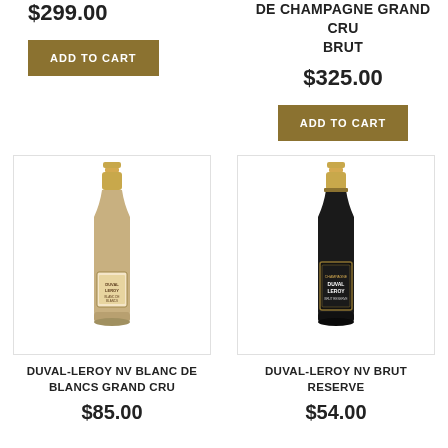$299.00
DE CHAMPAGNE GRAND CRU BRUT
$325.00
ADD TO CART
ADD TO CART
[Figure (photo): Duval-Leroy NV Blanc de Blancs Grand Cru champagne bottle with gold top and dark body with label]
[Figure (photo): Duval-Leroy NV Brut Reserve champagne bottle with gold top and dark body with label]
DUVAL-LEROY NV BLANC DE BLANCS GRAND CRU
DUVAL-LEROY NV BRUT RESERVE
$85.00
$54.00